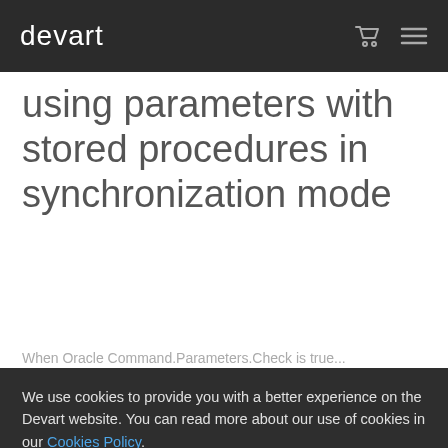devart
using parameters with stored procedures in synchronization mode
When Oracle Command.Parameters.Check is true...
We use cookies to provide you with a better experience on the Devart website. You can read more about our use of cookies in our Cookies Policy.
Click OK to continue browsing the Devart site. Be aware you can disable cookies at any time.
OK